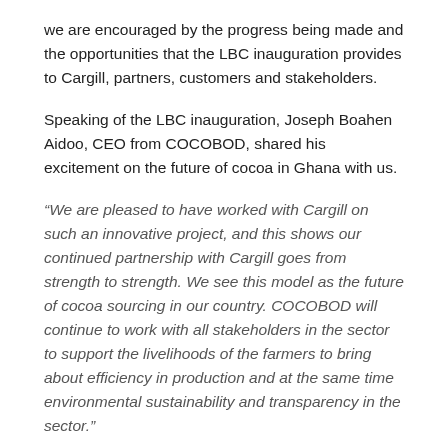we are encouraged by the progress being made and the opportunities that the LBC inauguration provides to Cargill, partners, customers and stakeholders.
Speaking of the LBC inauguration, Joseph Boahen Aidoo, CEO from COCOBOD, shared his excitement on the future of cocoa in Ghana with us.
“We are pleased to have worked with Cargill on such an innovative project, and this shows our continued partnership with Cargill goes from strength to strength. We see this model as the future of cocoa sourcing in our country. COCOBOD will continue to work with all stakeholders in the sector to support the livelihoods of the farmers to bring about efficiency in production and at the same time environmental sustainability and transparency in the sector.”
Ultimately, we are looking forward to building on our